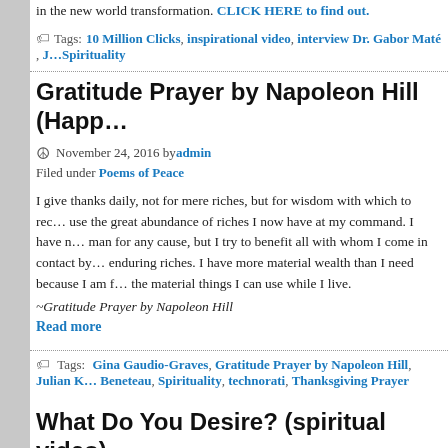in the new world transformation. CLICK HERE to find out.
Tags: 10 Million Clicks, inspirational video, interview Dr. Gabor Maté, Spirituality
Gratitude Prayer by Napoleon Hill (Happ…
November 24, 2016 by admin
Filed under Poems of Peace
I give thanks daily, not for mere riches, but for wisdom with which to rec… use the great abundance of riches I now have at my command. I have n… man for any cause, but I try to benefit all with whom I come in contact by enduring riches. I have more material wealth than I need because I am f… the material things I can use while I live.
~Gratitude Prayer by Napoleon Hill
Read more
Tags: Gina Gaudio-Graves, Gratitude Prayer by Napoleon Hill, Julian K… Beneteau, Spirituality, technorati, Thanksgiving Prayer
What Do You Desire? (spiritual video)